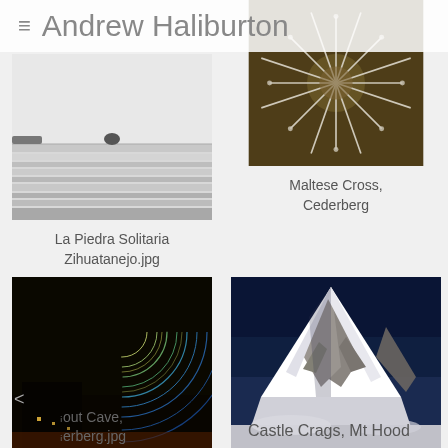Andrew Haliburton
[Figure (photo): Black and white photo of ocean scene with a lone rock in the sea, horizontal striped reflections in calm water]
La Piedra Solitaria Zihuatanejo.jpg
[Figure (photo): Color photo of a Maltese Cross succulent plant with spiky white branches against rocky terrain, overhead view]
Maltese Cross, Cederberg
[Figure (photo): Long exposure night photo of star trails spiraling over dark silhouetted landscape with warm glow on horizon]
...out Cave, ...derberg.jpg
[Figure (photo): Photo of snow-covered rocky mountain peak against deep blue sky, dramatic alpine scene]
Castle Crags, Mt Hood